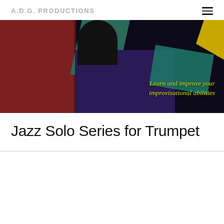A.D.G. PRODUCTIONS
[Figure (illustration): Abstract colorful book cover image with red, teal, purple, yellow patches and a dark figure silhouette. Yellow italic text reads: 'Learn and improve your improvisational abilities']
Jazz Solo Series for Trumpet